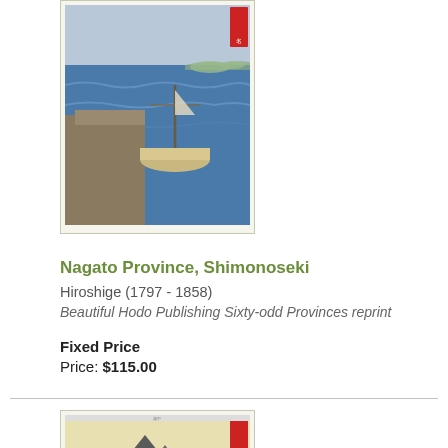[Figure (illustration): Japanese woodblock print showing a harbor scene with boats and water, Nagato Province Shimonoseki, framed with beige border]
Nagato Province, Shimonoseki
Hiroshige (1797 - 1858)
Beautiful Hodo Publishing Sixty-odd Provinces reprint
Fixed Price
Price: $115.00
[Figure (illustration): Japanese woodblock print showing a coastal landscape with mountains and water, framed with beige border]